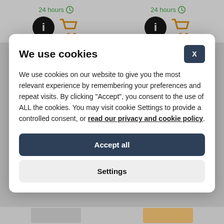[Figure (screenshot): Top bar showing two product listings each with '24 hours' label in green, an info icon (black circle with white i), and a shopping cart icon (orange)]
We use cookies
We use cookies on our website to give you the most relevant experience by remembering your preferences and repeat visits. By clicking "Accept", you consent to the use of ALL the cookies. You may visit cookie Settings to provide a controlled consent, or read our privacy and cookie policy.
Accept all
Settings